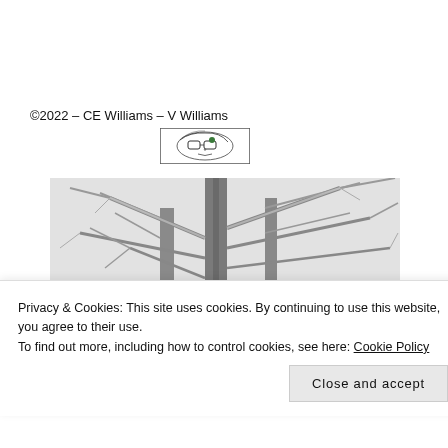©2022 – CE Williams – V Williams
[Figure (illustration): Small logo illustration of a face with glasses and a green detail, black and white sketch style]
[Figure (photo): Winter scene photograph of bare trees with snow-covered branches against a pale grey sky]
Privacy & Cookies: This site uses cookies. By continuing to use this website, you agree to their use.
To find out more, including how to control cookies, see here: Cookie Policy
Close and accept